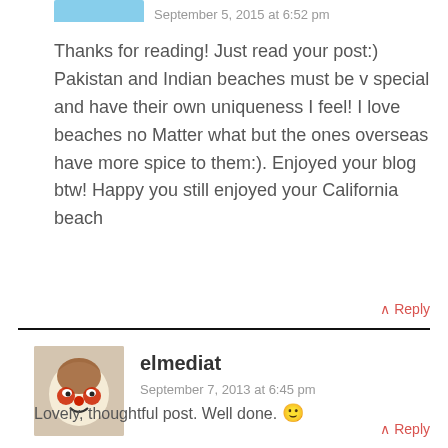[Figure (photo): Partial avatar image at top, cropped, showing blue/teal color]
September 5, 2015 at 6:52 pm
Thanks for reading! Just read your post:) Pakistan and Indian beaches must be v special and have their own uniqueness I feel! I love beaches no Matter what but the ones overseas have more spice to them:). Enjoyed your blog btw! Happy you still enjoyed your California beach
↑ Reply
[Figure (photo): Avatar of user elmediat showing a clown/mask face]
elmediat
September 7, 2013 at 6:45 pm
Lovely, thoughtful post. Well done. 🙂
↑ Reply
[Figure (photo): Partial avatar image at bottom, cropped, showing green color]